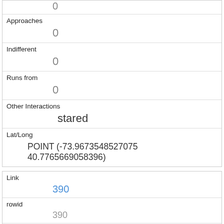| Approaches | 0 |
| Indifferent | 0 |
| Runs from | 0 |
| Other Interactions | stared |
| Lat/Long | POINT (-73.9673548527075 40.7765669058396) |
| Link | 390 |
| rowid | 390 |
| longitude | -73.970720187655 |
| latitude | 40.7774564799983 |
| Unique Squirrel ID |  |